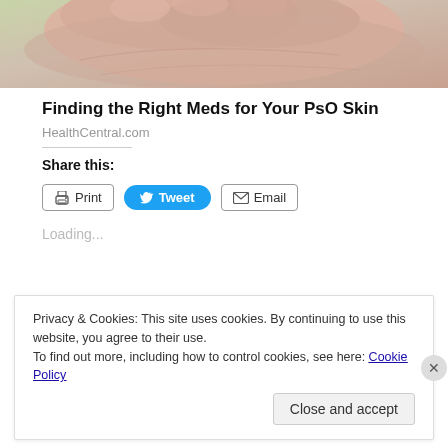[Figure (photo): Close-up photo of a human hand/palm against a light green background]
Finding the Right Meds for Your PsO Skin
HealthCentral.com
Share this:
[Figure (screenshot): Share buttons: Print, Tweet, Email]
Loading...
Privacy & Cookies: This site uses cookies. By continuing to use this website, you agree to their use.
To find out more, including how to control cookies, see here: Cookie Policy